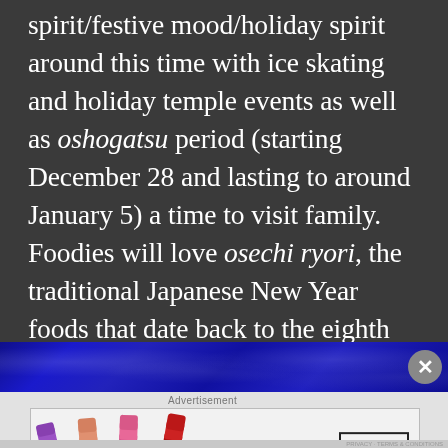spirit/festive mood/holiday spirit around this time with ice skating and holiday temple events as well as oshogatsu period (starting December 28 and lasting to around January 5) a time to visit family. Foodies will love osechi ryori, the traditional Japanese New Year foods that date back to the eighth century. These dishes include an assortment such as black soybeans, fish cake, red sea bream, and other delicacies. December in Tokyo is a time that you won't forget easily.
[Figure (photo): Blue decorative image strip at the bottom of the text area, appearing to show a dark blue crystalline or bokeh background]
[Figure (photo): Advertisement banner for MAC cosmetics featuring lipsticks in purple, peach, pink, and red colors alongside the MAC logo and a SHOP NOW button]